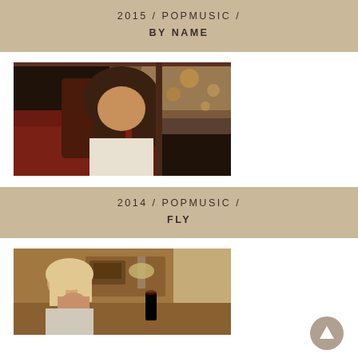2015 / POPMUSIC / BY NAME
[Figure (photo): Person with long hair sitting in a red convertible car, photographed from outside the car window]
2014 / POPMUSIC / FLY
[Figure (photo): Person sitting at a table in a cozy indoor setting, leaning on hand, with a radio and lamp visible in the background]